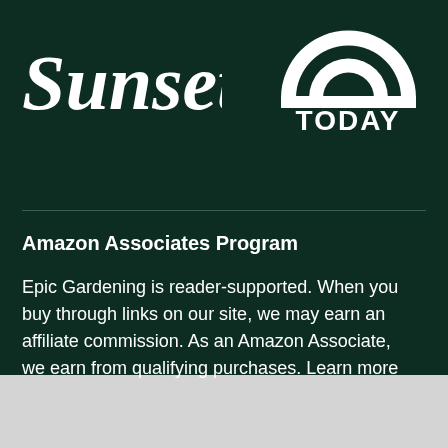[Figure (logo): Sunset magazine logo in white italic script on dark green background]
[Figure (logo): TODAY show logo: white rainbow arc above bold white text TODAY on dark green background]
Amazon Associates Program
Epic Gardening is reader-supported. When you buy through links on our site, we may earn an affiliate commission. As an Amazon Associate, we earn from qualifying purchases. Learn more